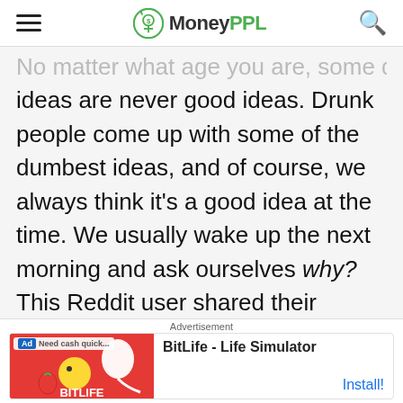MoneyPPL
No matter what age you are, some drunk ideas are never good ideas. Drunk people come up with some of the dumbest ideas, and of course, we always think it's a good idea at the time. We usually wake up the next morning and ask ourselves why? This Reddit user shared their experience with one of their ingenious drunk ideas that involved car surfing.
[Figure (other): BitLife - Life Simulator advertisement banner with red background and game imagery]